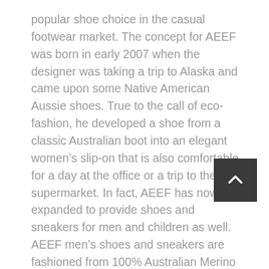popular shoe choice in the casual footwear market. The concept for AEEF was born in early 2007 when the designer was taking a trip to Alaska and came upon some Native American Aussie shoes. True to the call of eco-fashion, he developed a shoe from a classic Australian boot into an elegant women's slip-on that is also comfortable for a day at the office or a trip to the supermarket. In fact, AEEF has now expanded to provide shoes and sneakers for men and children as well. AEEF men's shoes and sneakers are fashioned from 100% Australian Merino wool from the country's capital city, Australia. Each pair of shoes or sneakers is crafted with this authentic Australian fabric and is designed with a minimalistic style and fresh contemporary design, while still providing excellent traction and durability.
It has been said that AEEF footwear may be the solution that helps Australian royalty. In any case, AEEF